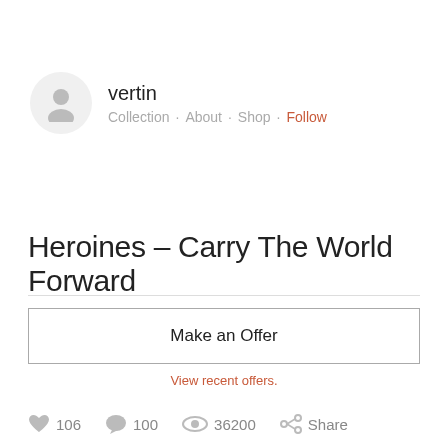[Figure (illustration): User avatar placeholder circle with generic person silhouette icon]
vertin
Collection · About · Shop · Follow
Heroines – Carry The World Forward
Make an Offer
View recent offers.
106  100  36200  Share